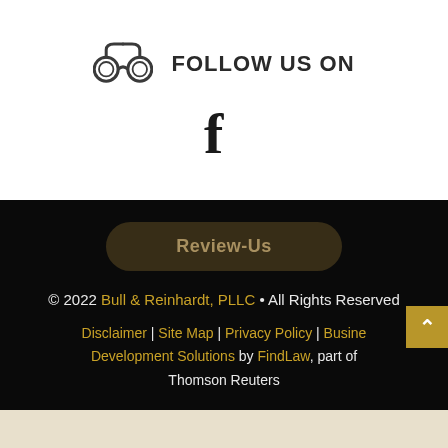[Figure (illustration): Binoculars icon SVG outline drawing]
FOLLOW US ON
[Figure (logo): Facebook f logo icon in dark color]
[Figure (other): Review-Us button with rounded pill shape on dark background]
© 2022 Bull & Reinhardt, PLLC • All Rights Reserved
Disclaimer | Site Map | Privacy Policy | Business Development Solutions by FindLaw, part of Thomson Reuters